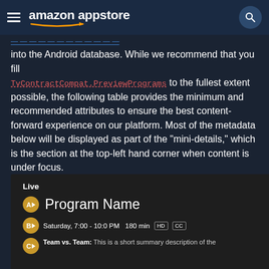amazon appstore
into the Android database. While we recommend that you fill TvContractCompat.PreviewPrograms to the fullest extent possible, the following table provides the minimum and recommended attributes to ensure the best content-forward experience on our platform. Most of the metadata below will be displayed as part of the "mini-details," which is the section at the top-left hand corner when content is under focus.
[Figure (screenshot): Screenshot of Amazon Fire TV mini-details UI showing: Live label, Program Name with channel badge A, Saturday 7:00 - 10:0 PM 180 min with HD and CC badges, and Team vs. Team summary description]